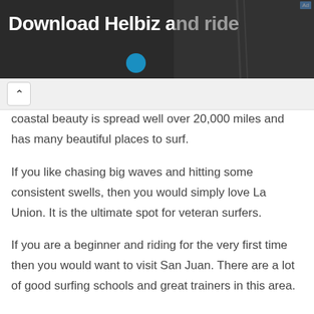[Figure (screenshot): Advertisement banner with text 'Download Helbiz and ride' on dark background with scooter image]
coastal beauty is spread well over 20,000 miles and has many beautiful places to surf.
If you like chasing big waves and hitting some consistent swells, then you would simply love La Union. It is the ultimate spot for veteran surfers.
If you are a beginner and riding for the very first time then you would want to visit San Juan. There are a lot of good surfing schools and great trainers in this area.